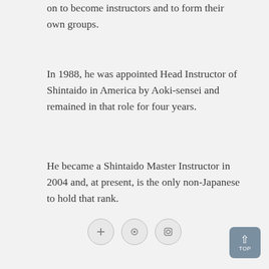on to become instructors and to form their own groups.
In 1988, he was appointed Head Instructor of Shintaido in America by Aoki-sensei and remained in that role for four years.
He became a Shintaido Master Instructor in 2004 and, at present, is the only non-Japanese to hold that rank.
Michael is the author of “UNTYING KNOTS: A SHINTAIDO CHRONICLE” available in the store.
Social media icons and TOP button